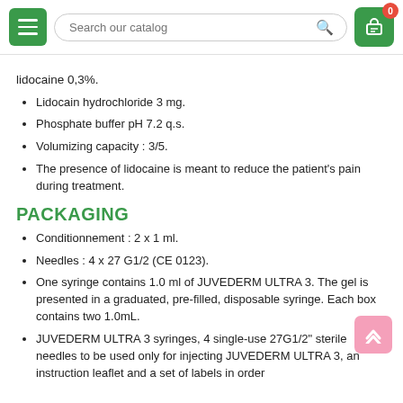Search our catalog
lidocaine 0,3%.
Lidocain hydrochloride 3 mg.
Phosphate buffer pH 7.2 q.s.
Volumizing capacity : 3/5.
The presence of lidocaine is meant to reduce the patient's pain during treatment.
PACKAGING
Conditionnement : 2 x 1 ml.
Needles : 4 x 27 G1/2 (CE 0123).
One syringe contains 1.0 ml of JUVEDERM ULTRA 3. The gel is presented in a graduated, pre-filled, disposable syringe. Each box contains two 1.0mL.
JUVEDERM ULTRA 3 syringes, 4 single-use 27G1/2" sterile needles to be used only for injecting JUVEDERM ULTRA 3, an instruction leaflet and a set of labels in order